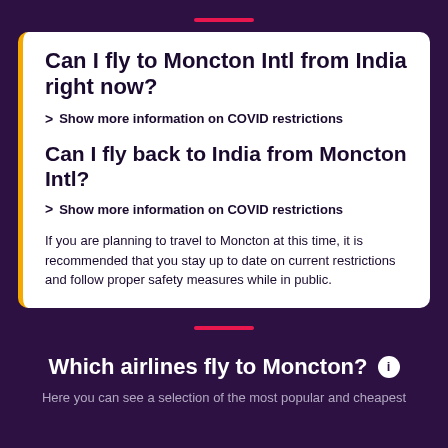Can I fly to Moncton Intl from India right now?
Show more information on COVID restrictions
Can I fly back to India from Moncton Intl?
Show more information on COVID restrictions
If you are planning to travel to Moncton at this time, it is recommended that you stay up to date on current restrictions and follow proper safety measures while in public.
Which airlines fly to Moncton?
Here you can see a selection of the most popular and cheapest